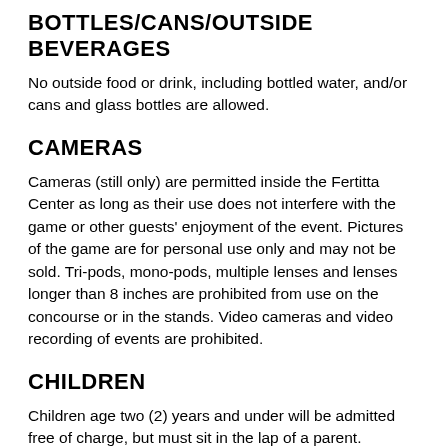BOTTLES/CANS/OUTSIDE BEVERAGES
No outside food or drink, including bottled water, and/or cans and glass bottles are allowed.
CAMERAS
Cameras (still only) are permitted inside the Fertitta Center as long as their use does not interfere with the game or other guests' enjoyment of the event. Pictures of the game are for personal use only and may not be sold. Tri-pods, mono-pods, multiple lenses and lenses longer than 8 inches are prohibited from use on the concourse or in the stands. Video cameras and video recording of events are prohibited.
CHILDREN
Children age two (2) years and under will be admitted free of charge, but must sit in the lap of a parent.